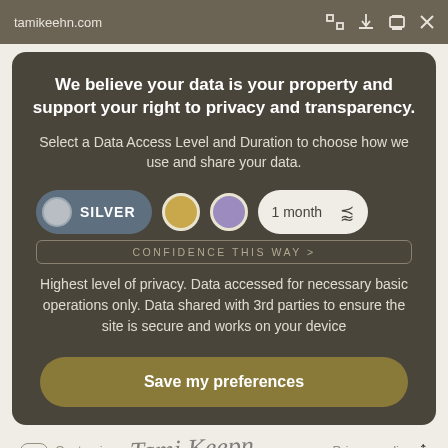tamikeehn.com
We believe your data is your property and support your right to privacy and transparency.
Select a Data Access Level and Duration to choose how we use and share your data.
[Figure (infographic): Data access level selector showing SILVER pill button, gold circle, purple circle, and 1 month dropdown; with CONFIDENCE THIS WAY > label below]
Highest level of privacy. Data accessed for necessary basic operations only. Data shared with 3rd parties to ensure the site is secure and works on your device
Save my preferences
Customize   Privacy policy